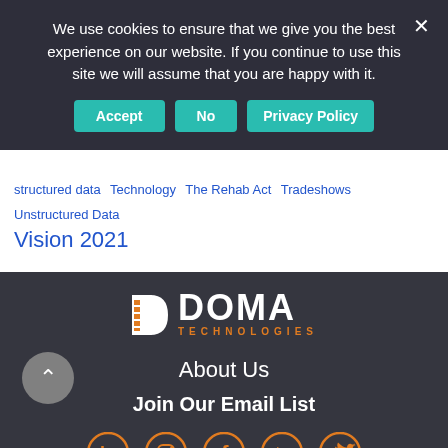We use cookies to ensure that we give you the best experience on our website. If you continue to use this site we will assume that you are happy with it.
Accept | No | Privacy Policy
structured data  Technology  The Rehab Act  Tradeshows  Unstructured Data
Vision 2021
[Figure (logo): DOMA Technologies logo with orange stacked D icon and white DOMA wordmark, orange TECHNOLOGIES subtext]
About Us
Join Our Email List
[Figure (infographic): Social media icons: LinkedIn, Instagram, Facebook, YouTube, Twitter — all in orange circle outlines]
Solutions